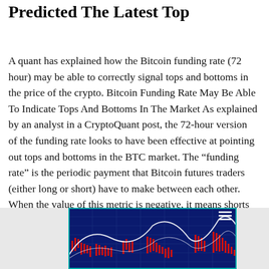Predicted The Latest Top
A quant has explained how the Bitcoin funding rate (72 hour) may be able to correctly signal tops and bottoms in the price of the crypto. Bitcoin Funding Rate May Be Able To Indicate Tops And Bottoms In The Market As explained by an analyst in a CryptoQuant post, the 72-hour version of the funding rate looks to have been effective at pointing out tops and bottoms in the BTC market. The “funding rate” is the periodic payment that Bitcoin futures traders (either long or short) have to make between each other. When the value of this metric is negative, it means shorts are paying a....
[Figure (screenshot): A screenshot of a trading chart showing Bitcoin price in candlestick format on a dark blue background with white curved lines indicating market cycles/patterns]